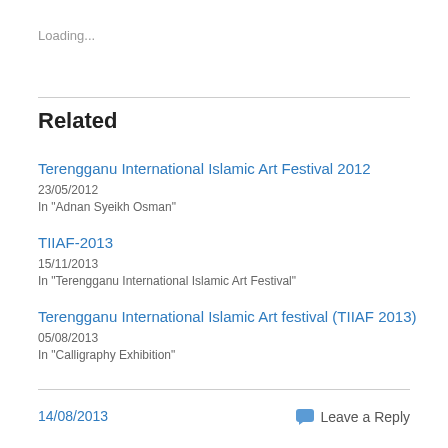Loading...
Related
Terengganu International Islamic Art Festival 2012
23/05/2012
In "Adnan Syeikh Osman"
TIIAF-2013
15/11/2013
In "Terengganu International Islamic Art Festival"
Terengganu International Islamic Art festival (TIIAF 2013)
05/08/2013
In "Calligraphy Exhibition"
14/08/2013
Leave a Reply